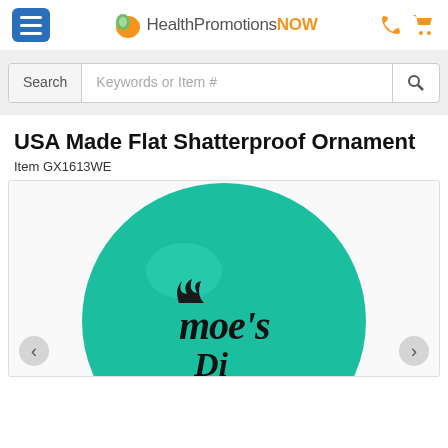[Figure (logo): HealthPromotionsNOW logo with hamburger menu icon, phone icon and shopping cart icon in the header]
[Figure (screenshot): Search bar UI with Search label, Keywords or Item # placeholder, and magnifying glass button on grey background]
USA Made Flat Shatterproof Ornament
Item GX1613WE
[Figure (photo): Teal/turquoise flat shatterproof Christmas ornament with gold cap, showing Moe's logo text printed on the ornament. Navigation arrows visible at bottom left and right.]